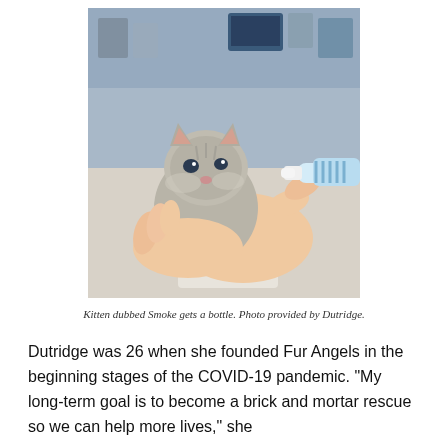[Figure (photo): A small gray kitten being bottle-fed by a person's hand holding a blue and white feeding bottle, set in what appears to be a pet store with shelves of products in the background.]
Kitten dubbed Smoke gets a bottle. Photo provided by Dutridge.
Dutridge was 26 when she founded Fur Angels in the beginning stages of the COVID-19 pandemic. "My long-term goal is to become a brick and mortar rescue so we can help more lives," she